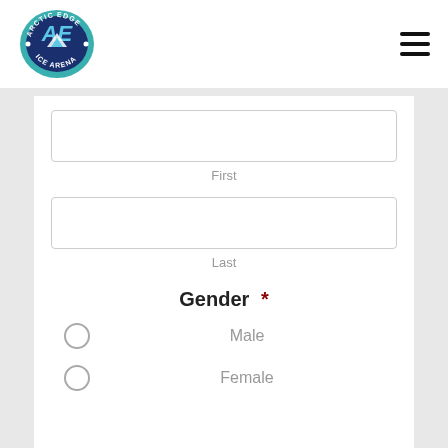[Figure (logo): Arctic Edge Ice Arena logo - circular teal/blue oval badge with 'AE' letters and mountain graphic]
First
Last
Gender *
Male
Female